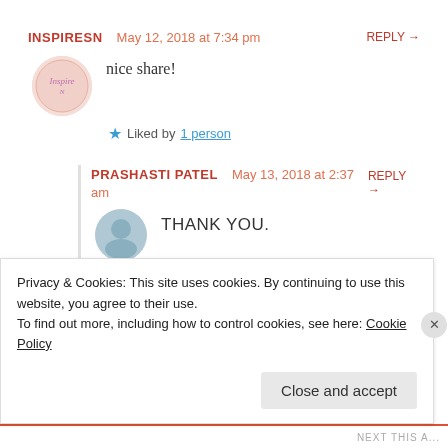INSPIRESN  May 12, 2018 at 7:34 pm  REPLY →
nice share!
★ Liked by 1 person
PRASHASTI PATEL  May 13, 2018 at 2:37 am  REPLY →
THANK YOU.
Privacy & Cookies: This site uses cookies. By continuing to use this website, you agree to their use.
To find out more, including how to control cookies, see here: Cookie Policy
Close and accept